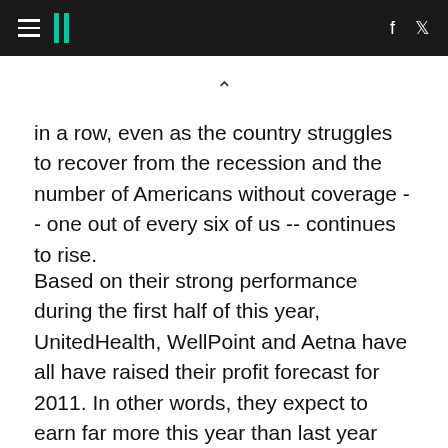HuffPost navigation header with hamburger menu, logo, Facebook and Twitter icons
in a row, even as the country struggles to recover from the recession and the number of Americans without coverage -- one out of every six of us -- continues to rise.
Based on their strong performance during the first half of this year, UnitedHealth, WellPoint and Aetna have all have raised their profit forecast for 2011. In other words, they expect to earn far more this year than last year and far more than even the most hopeful investors and analysts had anticipated.